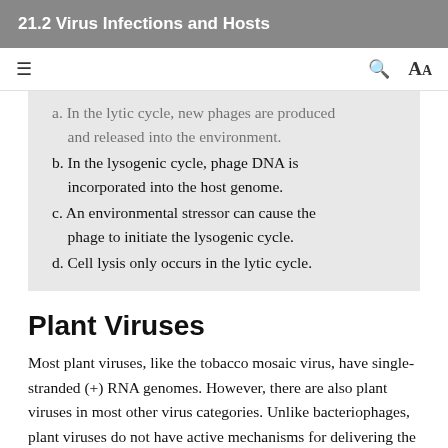21.2 Virus Infections and Hosts
a. In the lytic cycle, new phages are produced and released into the environment.
b. In the lysogenic cycle, phage DNA is incorporated into the host genome.
c. An environmental stressor can cause the phage to initiate the lysogenic cycle.
d. Cell lysis only occurs in the lytic cycle.
Plant Viruses
Most plant viruses, like the tobacco mosaic virus, have single-stranded (+) RNA genomes. However, there are also plant viruses in most other virus categories. Unlike bacteriophages, plant viruses do not have active mechanisms for delivering the viral genome across the